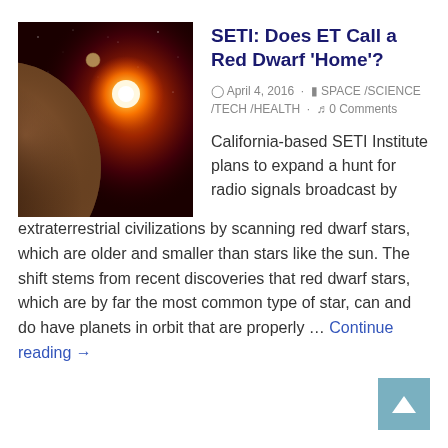[Figure (illustration): Artistic rendering of a large planet near a glowing red dwarf star against a dark reddish-orange space background, with a smaller moon visible.]
SETI: Does ET Call a Red Dwarf 'Home'?
April 4, 2016 · SPACE /SCIENCE /TECH /HEALTH · 0 Comments
California-based SETI Institute plans to expand a hunt for radio signals broadcast by extraterrestrial civilizations by scanning red dwarf stars, which are older and smaller than stars like the sun. The shift stems from recent discoveries that red dwarf stars, which are by far the most common type of star, can and do have planets in orbit that are properly … Continue reading →